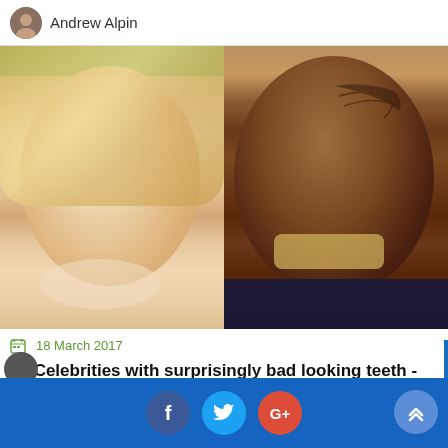Andrew Alpin
[Figure (photo): Two celebrity faces side by side: a blonde woman smiling on the left and a man with facial tattoo and gold teeth smiling on the right]
18 March 2017
10 Celebrities with surprisingly bad looking teeth - 2018 Update
f  (Twitter bird icon)  G+